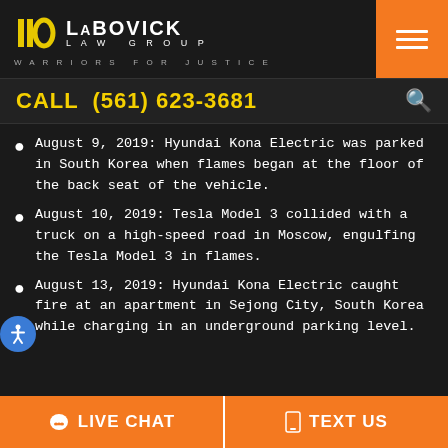[Figure (logo): LaBovick Law Group logo with yellow icon, white text LABOVICK LAW GROUP, tagline WARRIORS FOR JUSTICE, and orange hamburger menu button]
CALL (561) 623-3681
August 9, 2019: Hyundai Kona Electric was parked in South Korea when flames began at the floor of the back seat of the vehicle.
August 10, 2019: Tesla Model 3 collided with a truck on a high-speed road in Moscow, engulfing the Tesla Model 3 in flames.
August 13, 2019: Hyundai Kona Electric caught fire at an apartment in Sejong City, South Korea while charging in an underground parking level.
LIVE CHAT   TEXT US